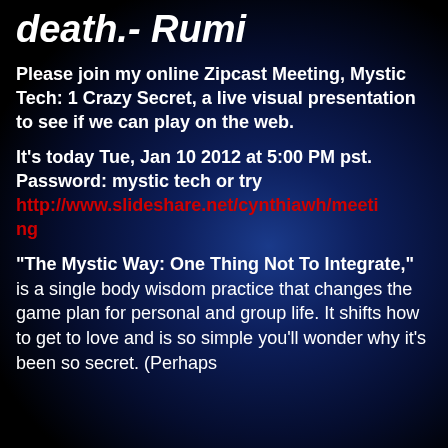death.- Rumi
Please join my online Zipcast Meeting, Mystic Tech: 1 Crazy Secret, a live visual presentation to see if we can play on the web.
It's today Tue, Jan 10 2012 at 5:00 PM pst. Password: mystic tech or try http://www.slideshare.net/cynthiawh/meeting
“The Mystic Way: One Thing Not To Integrate,” is a single body wisdom practice that changes the game plan for personal and group life. It shifts how to get to love and is so simple you’ll wonder why it’s been so secret. (Perhaps